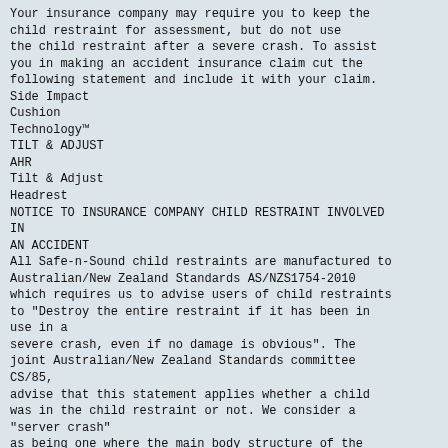Your insurance company may require you to keep the child restraint for assessment, but do not use the child restraint after a severe crash. To assist you in making an accident insurance claim cut the following statement and include it with your claim.
Side Impact
Cushion
Technology™
TILT & ADJUST
AHR
Tilt & Adjust
Headrest
NOTICE TO INSURANCE COMPANY CHILD RESTRAINT INVOLVED IN
AN ACCIDENT
All Safe-n-Sound child restraints are manufactured to Australian/New Zealand Standards AS/NZS1754-2010 which requires us to advise users of child restraints to "Destroy the entire restraint if it has been in use in a
severe crash, even if no damage is obvious". The joint Australian/New Zealand Standards committee CS/85,
advise that this statement applies whether a child was in the child restraint or not. We consider a "server crash"
as being one where the main body structure of the vehicle is distorted.
There is no method of determining if the restraint has been damaged and we concur with the Australian/New
Zealand Standards in recommending destruction of the child restraint.